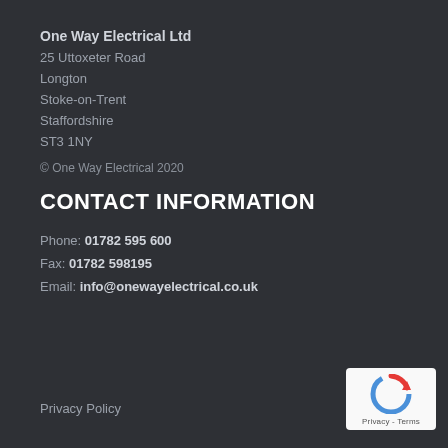One Way Electrical Ltd
25 Uttoxeter Road
Longton
Stoke-on-Trent
Staffordshire
ST3 1NY
© One Way Electrical 2020
CONTACT INFORMATION
Phone: 01782 595 600
Fax: 01782 598195
Email: info@onewayelectrical.co.uk
Privacy Policy
[Figure (logo): reCAPTCHA Privacy - Terms badge]